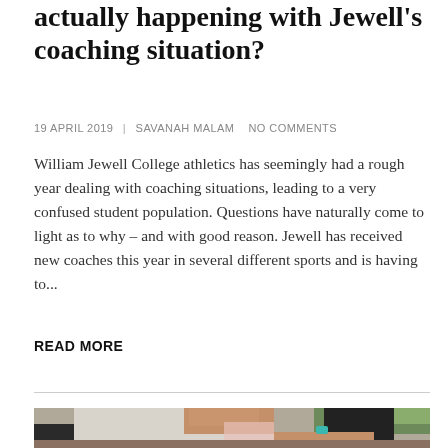actually happening with Jewell's coaching situation?
19 APRIL 2019 | SAVANAH MALAM  NO COMMENTS
William Jewell College athletics has seemingly had a rough year dealing with coaching situations, leading to a very confused student population. Questions have naturally come to light as to why – and with good reason. Jewell has received new coaches this year in several different sports and is having to...
READ MORE
[Figure (photo): Close-up photograph of athletes, showing a person in a white t-shirt with a pink design being embraced, outdoors with trees in background]